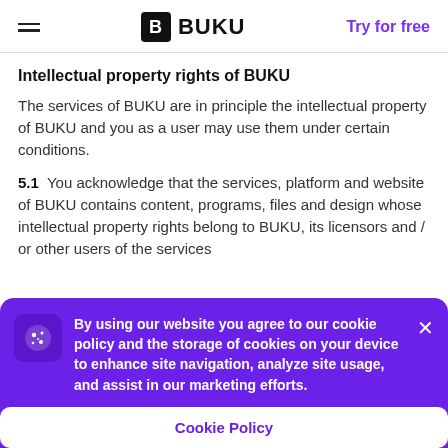BUKU — Try for free
Intellectual property rights of BUKU
The services of BUKU are in principle the intellectual property of BUKU and you as a user may use them under certain conditions.
5.1  You acknowledge that the services, platform and website of BUKU contains content, programs, files and design whose intellectual property rights belong to BUKU, its licensors and / or other users of the services
By using our website you agree to our cookie policy and the storage of cookies on your device to enhance site navigation, analyze site usage, and assist in our marketing efforts.
Cookie Policy